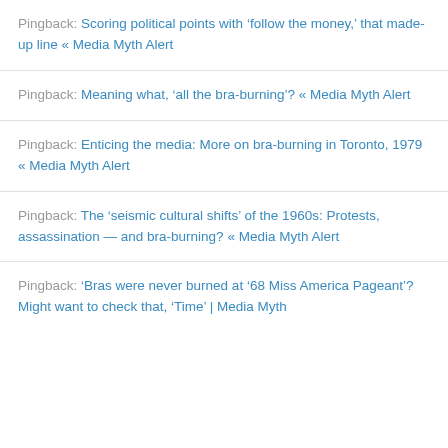Pingback: Scoring political points with ‘follow the money,’ that made-up line « Media Myth Alert
Pingback: Meaning what, ‘all the bra-burning’? « Media Myth Alert
Pingback: Enticing the media: More on bra-burning in Toronto, 1979 « Media Myth Alert
Pingback: The ‘seismic cultural shifts’ of the 1960s: Protests, assassination — and bra-burning? « Media Myth Alert
Pingback: ‘Bras were never burned at ’68 Miss America Pageant’? Might want to check that, ‘Time’ | Media Myth